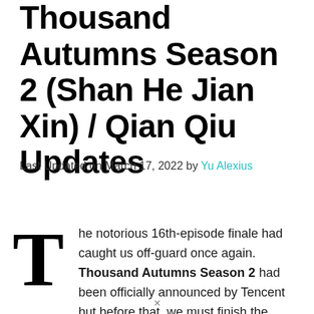Thousand Autumns Season 2 (Shan He Jian Xin) / Qian Qiu Updates
Last Updated on March 17, 2022 by Yu Alexius
The notorious 16th-episode finale had caught us off-guard once again. Thousand Autumns Season 2 had been officially announced by Tencent but before that, we must finish the existing first season first.